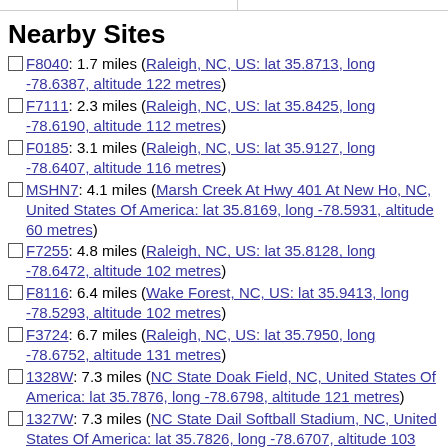Nearby Sites
F8040: 1.7 miles (Raleigh, NC, US: lat 35.8713, long -78.6387, altitude 122 metres)
F7111: 2.3 miles (Raleigh, NC, US: lat 35.8425, long -78.6190, altitude 112 metres)
F0185: 3.1 miles (Raleigh, NC, US: lat 35.9127, long -78.6407, altitude 116 metres)
MSHN7: 4.1 miles (Marsh Creek At Hwy 401 At New Ho, NC, United States Of America: lat 35.8169, long -78.5931, altitude 60 metres)
F7255: 4.8 miles (Raleigh, NC, US: lat 35.8128, long -78.6472, altitude 102 metres)
F8116: 6.4 miles (Wake Forest, NC, US: lat 35.9413, long -78.5293, altitude 102 metres)
F3724: 6.7 miles (Raleigh, NC, US: lat 35.7950, long -78.6752, altitude 131 metres)
1328W: 7.3 miles (NC State Doak Field, NC, United States Of America: lat 35.7876, long -78.6798, altitude 121 metres)
1327W: 7.3 miles (NC State Dail Softball Stadium, NC, United States Of America: lat 35.7826, long -78.6707, altitude 103 metres)
0802W: 7.8 miles (NC State Football Practice Facil, NC, United States Of America...)